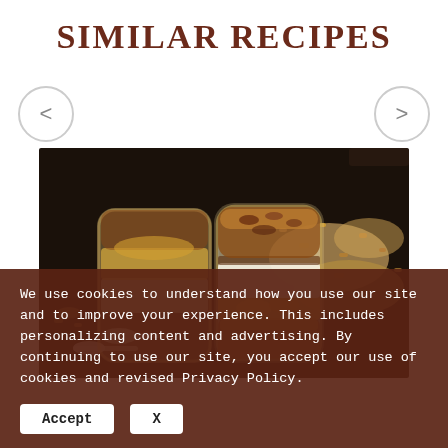SIMILAR RECIPES
[Figure (photo): Two glass jars filled with layered granola, yogurt, and fruit (likely peach or apple), surrounded by loose granola and nuts on a dark baking tray with spoons nearby.]
We use cookies to understand how you use our site and to improve your experience. This includes personalizing content and advertising. By continuing to use our site, you accept our use of cookies and revised Privacy Policy.
Accept   X